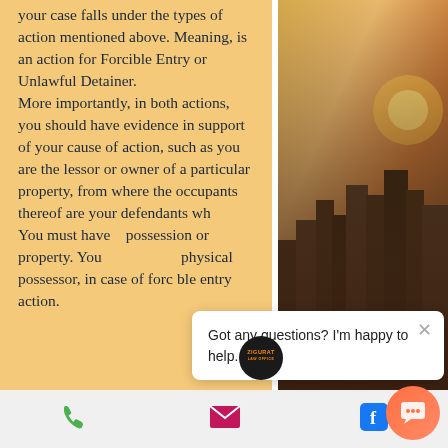your case falls under the types of action mentioned above. Meaning, is an action for Forcible Entry or Unlawful Detainer.
More importantly, in both actions, you should have evidence in support of your cause of action, such as you are the lessor or owner of a particular property, from where the occupants thereof are your defendants who... You must have possession or ... property. You must be the physical possessor, in case of forcible entry action.
[Figure (photo): City skyline photo with warm golden sunset light, buildings silhouetted in background, on right side of page]
[Figure (other): Chat popup overlay with close button (x) and text 'Got any questions? I'm happy to help.' and a circular avatar logo and orange chat launcher button]